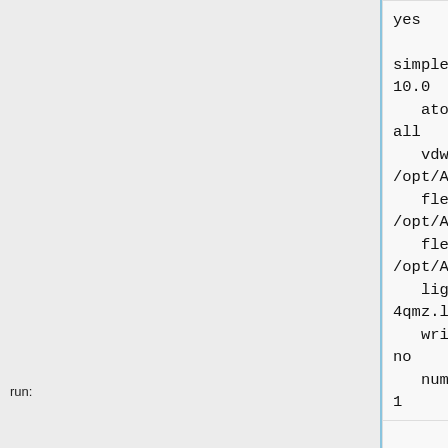yes

simplex_coefficient_restraint
10.0
   atom_model
all
   vdw_defn_file
/opt/AMS536/dock6/parameters/vo
   flex_defn_file
/opt/AMS536/dock6/parameters/fl
   flex_drive_file
/opt/AMS536/dock6/parameters/fl
   ligand_outfile_prefix
4qmz.lig.min
   write_orientations
no
   num_scored_conformers
1
   rank_ligands
no
run: